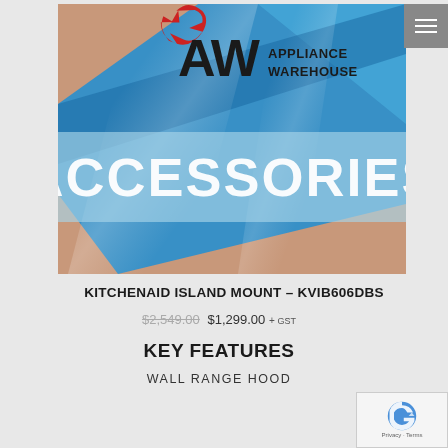[Figure (logo): Appliance Warehouse logo with red recycling arrows and AW letters on colorful accessories banner background]
KITCHENAID ISLAND MOUNT – KVIB606DBS
$2,549.00 $1,299.00 + GST
KEY FEATURES
WALL RANGE HOOD